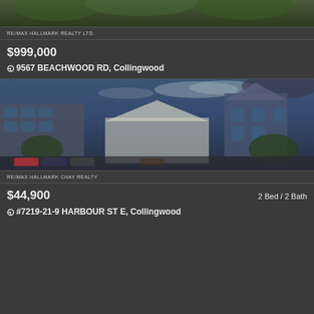[Figure (photo): Exterior property photo of 9567 Beachwood Rd, Collingwood - green foliage/trees]
RE/MAX HALLMARK REALTY LTD.
$999,000
9567 BEACHWOOD RD, Collingwood
[Figure (photo): Exterior photo of condo building at 7219-21-9 Harbour St E, Collingwood - multi-story building with gazebo entrance, blue sky with clouds]
RE/MAX HALLMARK CHAY REALTY
$44,900
2 Bed / 2 Bath
#7219-21-9 HARBOUR ST E, Collingwood